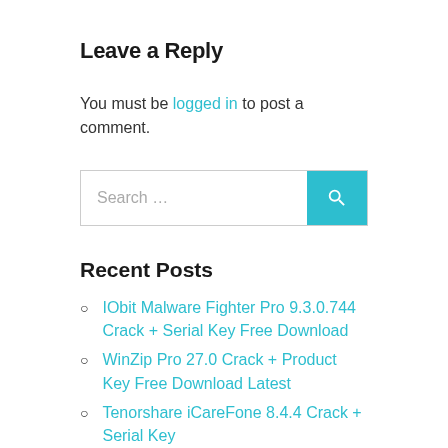Leave a Reply
You must be logged in to post a comment.
[Figure (other): Search input box with teal search button]
Recent Posts
IObit Malware Fighter Pro 9.3.0.744 Crack + Serial Key Free Download
WinZip Pro 27.0 Crack + Product Key Free Download Latest
Tenorshare iCareFone 8.4.4 Crack + Serial Key